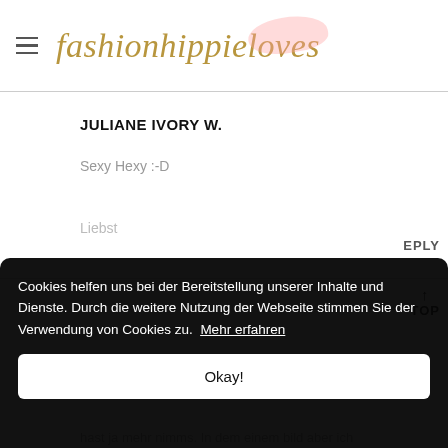fashionhippieloves
JULIANE IVORY W.
Sexy Hexy :-D
Liebst
EPLY
TOP
Cookies helfen uns bei der Bereitstellung unserer Inhalte und Dienste. Durch die weitere Nutzung der Webseite stimmen Sie der Verwendung von Cookies zu.  Mehr erfahren
Okay!
hast ja mehr nimms. In dem einem bild aber ich